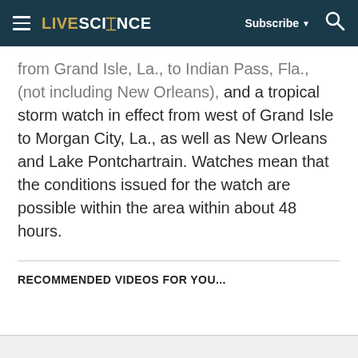LIVESCIENCE  Subscribe  🔍
from Grand Isle, La., to Indian Pass, Fla., (not including New Orleans), and a tropical storm watch in effect from west of Grand Isle to Morgan City, La., as well as New Orleans and Lake Pontchartrain. Watches mean that the conditions issued for the watch are possible within the area within about 48 hours.
RECOMMENDED VIDEOS FOR YOU...